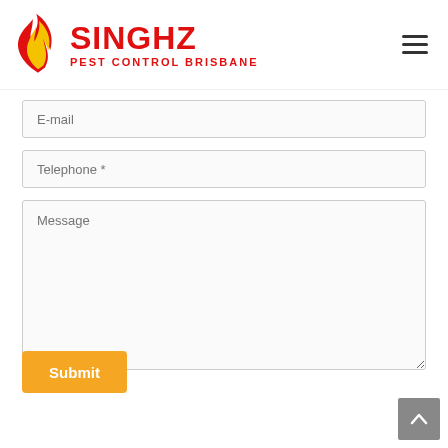[Figure (logo): Singhz Pest Control Brisbane logo with flame icon in red and yellow, and company name in red bold text]
E-mail
Telephone *
Message
Submit